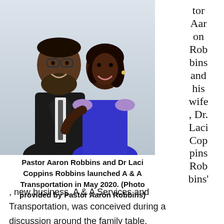[Figure (photo): Portrait photo of Pastor Aaron Robbins and Dr. Laci Coppins Robbins. A man in a black suit with a beard and glasses stands beside a woman in a blue dress, both smiling.]
tor Aaron Robbins and his wife , Dr. Laci Coppins Robbins'
Pastor Aaron Robbins and Dr Laci Coppins Robbins launched A & A Transportation in May 2020. (Photo provided by Pastor Aaron Robbins)
, new business, A & A Services and Transportation, was conceived during a discussion around the family table, Thanksgiving